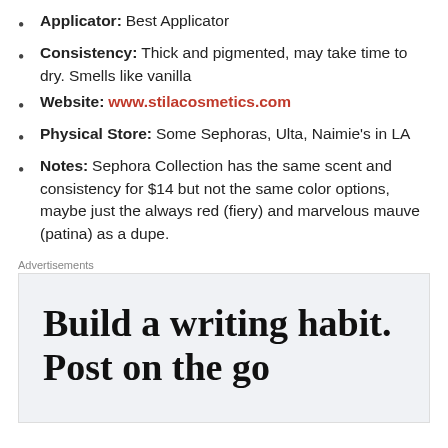Applicator: Best Applicator
Consistency: Thick and pigmented, may take time to dry. Smells like vanilla
Website: www.stilacosmetics.com
Physical Store: Some Sephoras, Ulta, Naimie's in LA
Notes: Sephora Collection has the same scent and consistency for $14 but not the same color options, maybe just the always red (fiery) and marvelous mauve (patina) as a dupe.
Advertisements
[Figure (screenshot): Advertisement banner with text 'Build a writing habit. Post on the go']